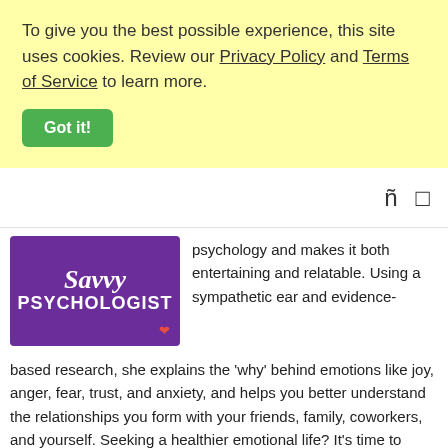To give you the best possible experience, this site uses cookies. Review our Privacy Policy and Terms of Service to learn more.
Got it!
[Figure (logo): Savvy Psychologist logo — purple background with white text]
psychology and makes it both entertaining and relatable. Using a sympathetic ear and evidence-based research, she explains the 'why' behind emotions like joy, anger, fear, trust, and anxiety, and helps you better understand the relationships you form with your friends, family, coworkers, and yourself. Seeking a healthier emotional life? It's time to bring a...
[Figure (photo): Gray/blue toned image, partially visible at bottom of page]
From the stuff your mother never told you, to the stuff your doctor never learned. On Health